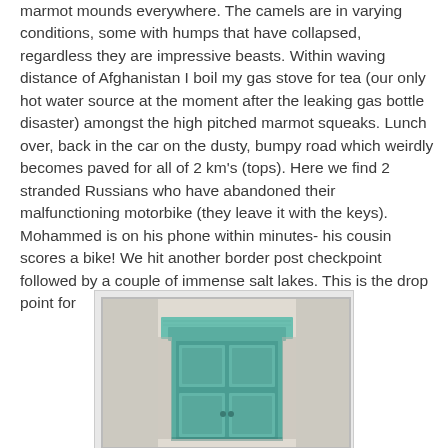marmot mounds everywhere. The camels are in varying conditions, some with humps that have collapsed, regardless they are impressive beasts. Within waving distance of Afghanistan I boil my gas stove for tea (our only hot water source at the moment after the leaking gas bottle disaster) amongst the high pitched marmot squeaks. Lunch over, back in the car on the dusty, bumpy road which weirdly becomes paved for all of 2 km's (tops). Here we find 2 stranded Russians who have abandoned their malfunctioning motorbike (they leave it with the keys). Mohammed is on his phone within minutes- his cousin scores a bike! We hit another border post checkpoint followed by a couple of immense salt lakes. This is the drop point for
[Figure (photo): A teal/turquoise painted wooden door set in a white plastered wall, with a decorative lintel above it.]